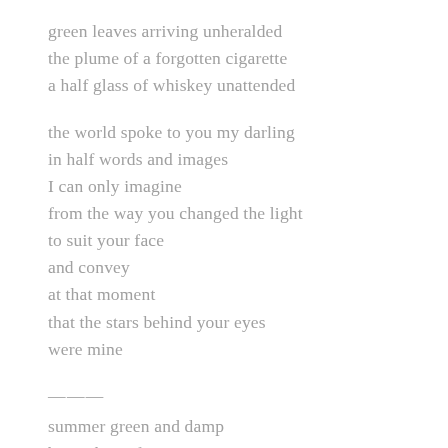green leaves arriving unheralded
the plume of a forgotten cigarette
a half glass of whiskey unattended
the world spoke to you my darling
in half words and images
I can only imagine
from the way you changed the light
to suit your face
and convey
at that moment
that the stars behind your eyes
were mine
———
summer green and damp
beneath my feet as I ran
toward flight
rising over hills